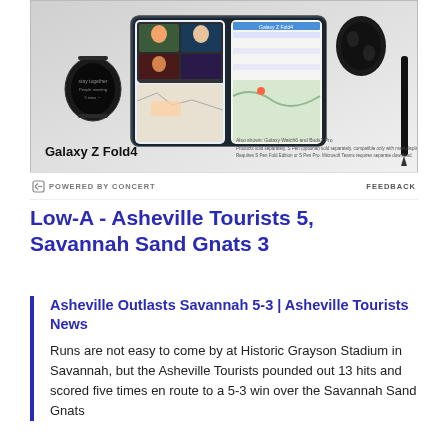[Figure (photo): Samsung Galaxy Z Fold4 advertisement showing the foldable phone open with a video call on screen, alongside a Galaxy Watch6 and Buds2 Pro. Text reads 'Galaxy Z Fold4' with fine print about S Pen and accessories.]
POWERED BY CONCERT   FEEDBACK
Low-A - Asheville Tourists 5, Savannah Sand Gnats 3
Asheville Outlasts Savannah 5-3 | Asheville Tourists News
Runs are not easy to come by at Historic Grayson Stadium in Savannah, but the Asheville Tourists pounded out 13 hits and scored five times en route to a 5-3 win over the Savannah Sand Gnats